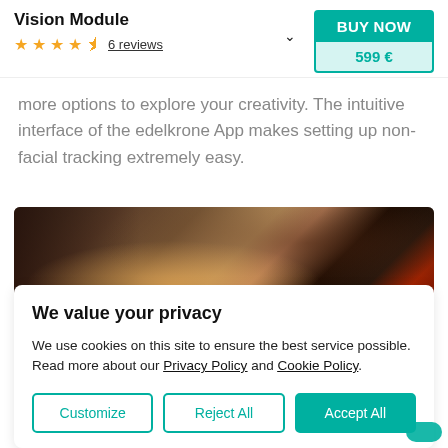Vision Module
★★★★½ 6 reviews
BUY NOW
599 €
more options to explore your creativity. The intuitive interface of the edelkrone App makes setting up non-facial tracking extremely easy.
[Figure (photo): Close-up photo of a hand holding a device with blurred colorful background including red neon lights]
We value your privacy
We use cookies on this site to ensure the best service possible. Read more about our Privacy Policy and Cookie Policy.
Customize | Reject All | Accept All